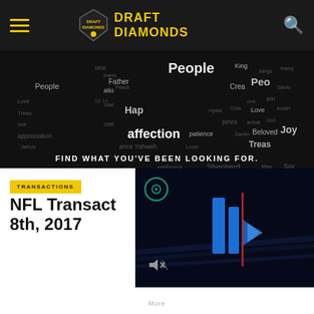Draft Diamonds
[Figure (photo): Dark word cloud banner with religious and inspirational words (People, affection, patience, Father, Love, Joy, Beloved, etc.) with tagline 'FIND WHAT YOU'VE BEEN LOOKING FOR.']
TRANSACTIONS
NFL Transactions 8th, 2017
[Figure (screenshot): Video player thumbnail showing blue NFL shield/arrow graphic on dark background with mute icon]